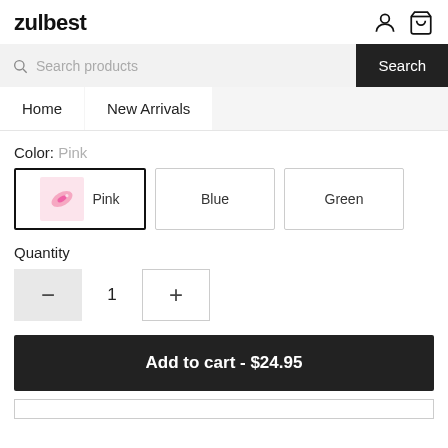zulbest
Color: Pink
Pink | Blue | Green
Quantity
1
Add to cart - $24.95